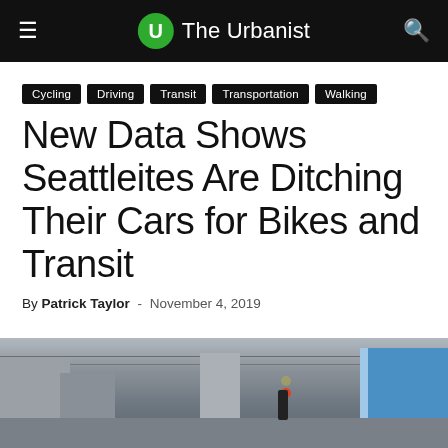The Urbanist
Cycling
Driving
Transit
Transportation
Walking
New Data Shows Seattleites Are Ditching Their Cars for Bikes and Transit
By Patrick Taylor - November 4, 2019
[Figure (photo): Street-level view of a downtown Seattle urban street with buildings, overhead wires, and a red traffic light signal]